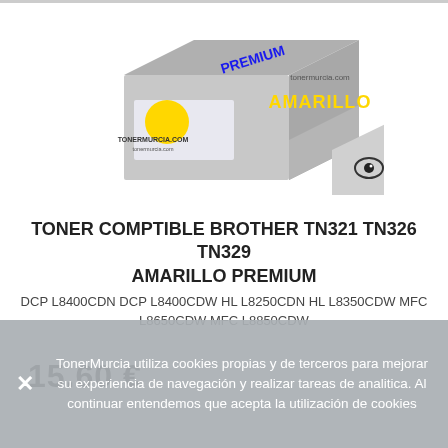[Figure (photo): Product photo of a yellow toner cartridge box branded PREMIUM and tonermurcia.com with AMARILLO label, shown in 3D perspective view with a watermark eye logo on the right side]
TONER COMPTIBLE BROTHER TN321 TN326 TN329 AMARILLO PREMIUM
DCP L8400CDN DCP L8400CDW HL L8250CDN HL L8350CDW MFC L8650CDW MFC L8850CDW
15.60 €
TonerMurcia utiliza cookies propias y de terceros para mejorar su experiencia de navegación y realizar tareas de analitica. Al continuar entendemos que acepta la utilización de cookies